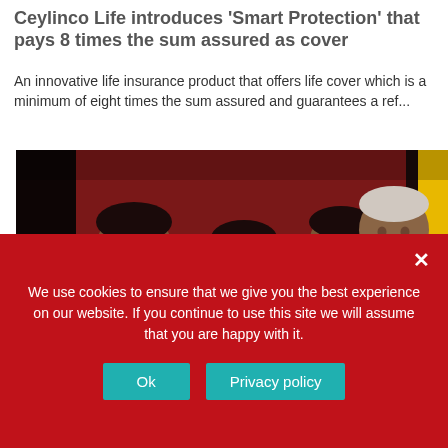Ceylinco Life introduces 'Smart Protection' that pays 8 times the sum assured as cover
An innovative life insurance product that offers life cover which is a minimum of eight times the sum assured and guarantees a ref...
[Figure (photo): Group photo of four people at a formal event: a young man in a suit with a pink tie on the left, a woman in a red/pink outfit in the center-left, a man in a dark suit center-right, and an older man in a dark suit on the right. Red and dark background with a yellow banner on the right edge.]
We use cookies to ensure that we give you the best experience on our website. If you continue to use this site we will assume that you are happy with it.